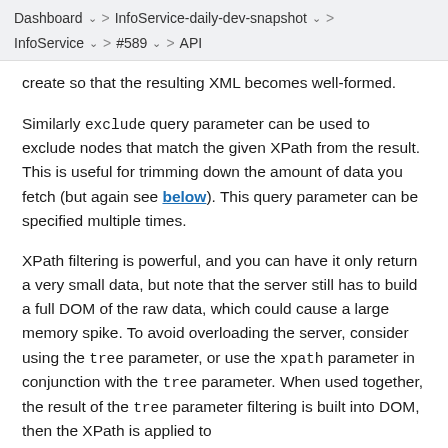Dashboard  >  InfoService-daily-dev-snapshot  >  InfoService  >  #589  >  API
create so that the resulting XML becomes well-formed.
Similarly exclude query parameter can be used to exclude nodes that match the given XPath from the result. This is useful for trimming down the amount of data you fetch (but again see below). This query parameter can be specified multiple times.
XPath filtering is powerful, and you can have it only return a very small data, but note that the server still has to build a full DOM of the raw data, which could cause a large memory spike. To avoid overloading the server, consider using the tree parameter, or use the xpath parameter in conjunction with the tree parameter. When used together, the result of the tree parameter filtering is built into DOM, then the XPath is applied to